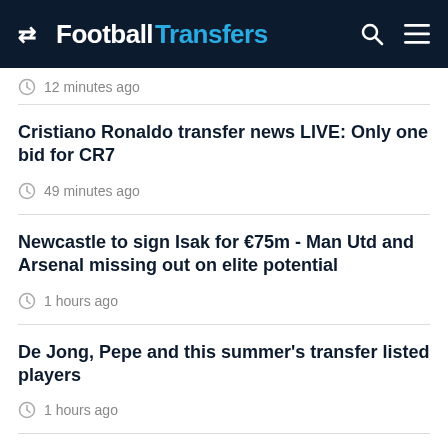FootballTransfers
12 minutes ago
Cristiano Ronaldo transfer news LIVE: Only one bid for CR7
49 minutes ago
Newcastle to sign Isak for €75m - Man Utd and Arsenal missing out on elite potential
1 hours ago
De Jong, Pepe and this summer's transfer listed players
1 hours ago
Man Utd and Chelsea should move on Dembele after Lyon rejection
2 hours ago